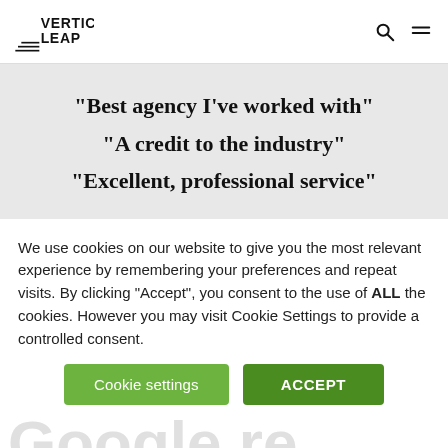Vertical Leap
“Best agency I’ve worked with”
“A credit to the industry”
“Excellent, professional service”
We use cookies on our website to give you the most relevant experience by remembering your preferences and repeat visits. By clicking “Accept”, you consent to the use of ALL the cookies. However you may visit Cookie Settings to provide a controlled consent.